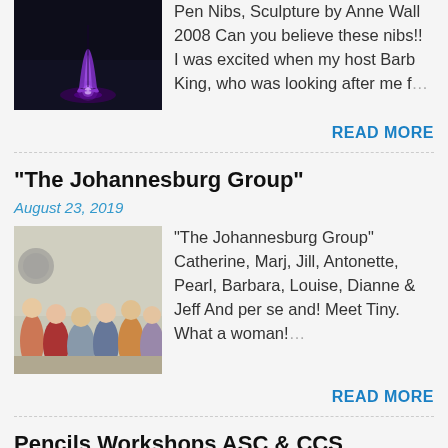[Figure (photo): Illuminated purple pen nib sculpture at night]
Pen Nibs, Sculpture by Anne Wall 2008 Can you believe these nibs!!  I was excited when my host Barb King, who was looking after me f…
READ MORE
"The Johannesburg Group"
August 23, 2019
[Figure (photo): Group photo of people including Catherine, Marj, Jill, Antonette, Pearl, Barbara, Louise, Dianne & Jeff]
"The Johannesburg Group" Catherine, Marj, Jill, Antonette, Pearl, Barbara, Louise, Dianne & Jeff And per se and! Meet Tiny. What a woman!…
READ MORE
Pencils Workshops ASC & CCS
October 06, 2014